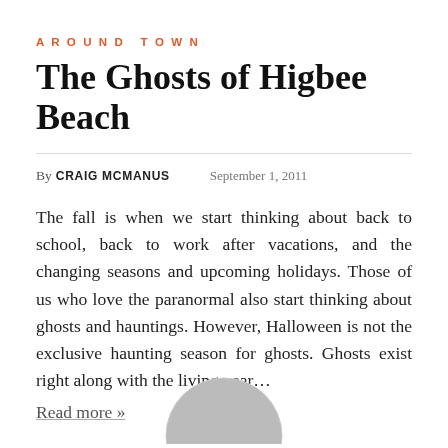AROUND TOWN
The Ghosts of Higbee Beach
By CRAIG MCMANUS    September 1, 2011
The fall is when we start thinking about back to school, back to work after vacations, and the changing seasons and upcoming holidays. Those of us who love the paranormal also start thinking about ghosts and hauntings. However, Halloween is not the exclusive haunting season for ghosts. Ghosts exist right along with the living year…
Read more »
[Figure (photo): Partial circular photo visible at bottom center of page]